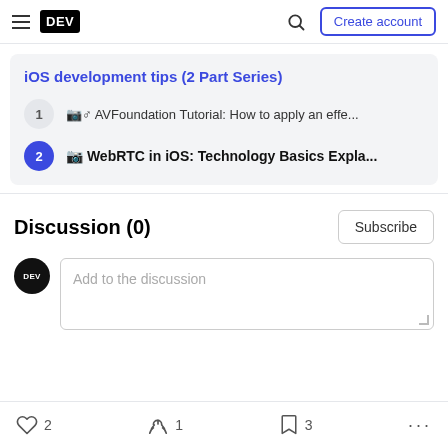DEV — Create account
iOS development tips (2 Part Series)
1 — AVFoundation Tutorial: How to apply an effe…
2 — WebRTC in iOS: Technology Basics Expla…
Discussion (0)
Add to the discussion
2  1  3  ...